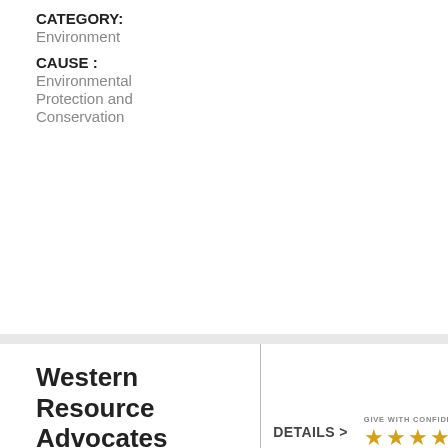CATEGORY: Environment
CAUSE : Environmental Protection and Conservation
Western Resource Advocates
WRA fights climate change and its impacts to sustain the environment, economy, and people of the West.
SCORE: 97.08
LOCATION: Boulder, CO
CATEGORY: Environment
CAUSE :
DETAILS >
[Figure (infographic): Give With Confidence rating badge with 4 gold stars]